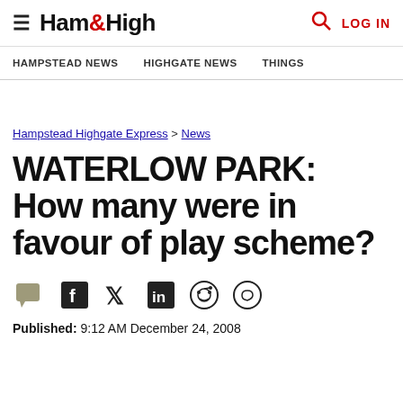Ham&High | HAMPSTEAD NEWS | HIGHGATE NEWS | THINGS | LOG IN
Hampstead Highgate Express > News
WATERLOW PARK: How many were in favour of play scheme?
Published: 9:12 AM December 24, 2008